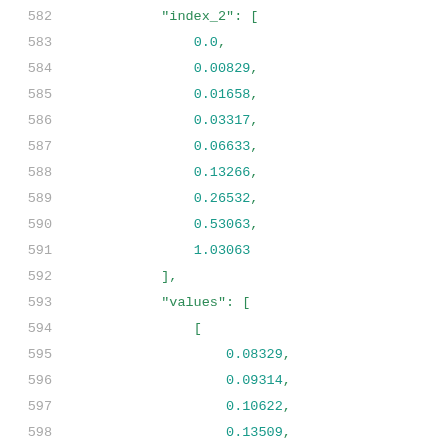582    "index_2": [
583        0.0,
584        0.00829,
585        0.01658,
586        0.03317,
587        0.06633,
588        0.13266,
589        0.26532,
590        0.53063,
591        1.03063
592    ],
593    "values": [
594        [
595            0.08329,
596            0.09314,
597            0.10622,
598            0.13509,
599            0.19549,
600            0.31845,
601            0.56817,
602            1.06713,
603            2.01257